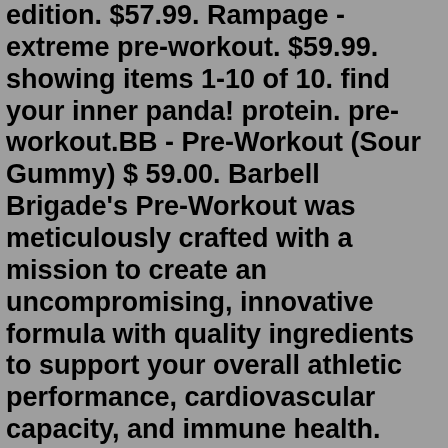edition. $57.99. Rampage - extreme pre-workout. $59.99. showing items 1-10 of 10. find your inner panda! protein. pre-workout.BB - Pre-Workout (Sour Gummy) $ 59.00. Barbell Brigade's Pre-Workout was meticulously crafted with a mission to create an uncompromising, innovative formula with quality ingredients to support your overall athletic performance, cardiovascular capacity, and immune health. Finished with a tasty Sour Gummy flavor, this Pre-workout is a must for ... Transfer the baking sheet with the candy molds to the refrigerator for at least 20 minutes so the gummy candies can fully set. The Spruce. Once the candies are set, remove the gummies by carefully pushing the sides of the candy away from the edges of the mold and toward the center, then pull them up and out of the molds. The Spruce.VADE Nutrition®: Dissolvable Pre-Workout Packets Extreme- Sour Gummy and Rainbow Candy. Take your workouts to the next level with VADE Extreme Pre-Workout. Packed with 400mg of adenosine 5'-triphosphate disodium it enhances strength and